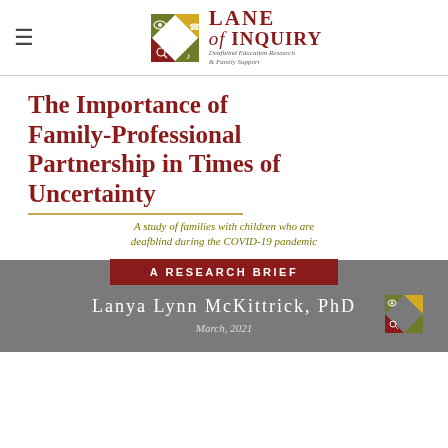Lane of Inquiry — Deafblind Education Research & Family Support
The Importance of Family-Professional Partnership in Times of Uncertainty
A study of families with children who are deafblind during the COVID-19 pandemic
A RESEARCH BRIEF
Lanya Lynn McKittrick, PhD
March, 2021